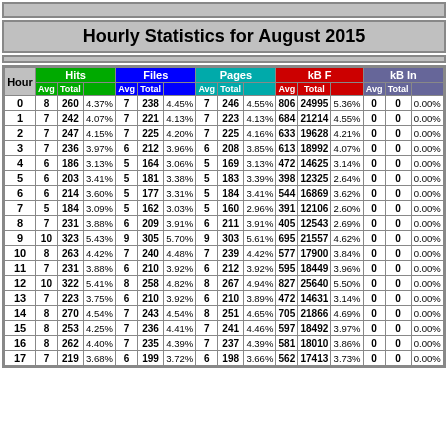Hourly Statistics for August 2015
| Hour | Hits Avg | Hits Total | Hits % | Files Avg | Files Total | Files % | Pages Avg | Pages Total | Pages % | kBF Avg | kBF Total | kBF % | kBIn Avg | kBIn Total | kBIn % |
| --- | --- | --- | --- | --- | --- | --- | --- | --- | --- | --- | --- | --- | --- | --- | --- |
| 0 | 8 | 260 | 4.37% | 7 | 238 | 4.45% | 7 | 246 | 4.55% | 806 | 24995 | 5.36% | 0 | 0 | 0.00% |
| 1 | 7 | 242 | 4.07% | 7 | 221 | 4.13% | 7 | 223 | 4.13% | 684 | 21214 | 4.55% | 0 | 0 | 0.00% |
| 2 | 7 | 247 | 4.15% | 7 | 225 | 4.20% | 7 | 225 | 4.16% | 633 | 19628 | 4.21% | 0 | 0 | 0.00% |
| 3 | 7 | 236 | 3.97% | 6 | 212 | 3.96% | 6 | 208 | 3.85% | 613 | 18992 | 4.07% | 0 | 0 | 0.00% |
| 4 | 6 | 186 | 3.13% | 5 | 164 | 3.06% | 5 | 169 | 3.13% | 472 | 14625 | 3.14% | 0 | 0 | 0.00% |
| 5 | 6 | 203 | 3.41% | 5 | 181 | 3.38% | 5 | 183 | 3.39% | 398 | 12325 | 2.64% | 0 | 0 | 0.00% |
| 6 | 6 | 214 | 3.60% | 5 | 177 | 3.31% | 5 | 184 | 3.41% | 544 | 16869 | 3.62% | 0 | 0 | 0.00% |
| 7 | 5 | 184 | 3.09% | 5 | 162 | 3.03% | 5 | 160 | 2.96% | 391 | 12106 | 2.60% | 0 | 0 | 0.00% |
| 8 | 7 | 231 | 3.88% | 6 | 209 | 3.91% | 6 | 211 | 3.91% | 405 | 12543 | 2.69% | 0 | 0 | 0.00% |
| 9 | 10 | 323 | 5.43% | 9 | 305 | 5.70% | 9 | 303 | 5.61% | 695 | 21557 | 4.62% | 0 | 0 | 0.00% |
| 10 | 8 | 263 | 4.42% | 7 | 240 | 4.48% | 7 | 239 | 4.42% | 577 | 17900 | 3.84% | 0 | 0 | 0.00% |
| 11 | 7 | 231 | 3.88% | 6 | 210 | 3.92% | 6 | 212 | 3.92% | 595 | 18449 | 3.96% | 0 | 0 | 0.00% |
| 12 | 10 | 322 | 5.41% | 8 | 258 | 4.82% | 8 | 267 | 4.94% | 827 | 25640 | 5.50% | 0 | 0 | 0.00% |
| 13 | 7 | 223 | 3.75% | 6 | 210 | 3.92% | 6 | 210 | 3.89% | 472 | 14631 | 3.14% | 0 | 0 | 0.00% |
| 14 | 8 | 270 | 4.54% | 7 | 243 | 4.54% | 8 | 251 | 4.65% | 705 | 21866 | 4.69% | 0 | 0 | 0.00% |
| 15 | 8 | 253 | 4.25% | 7 | 236 | 4.41% | 7 | 241 | 4.46% | 597 | 18492 | 3.97% | 0 | 0 | 0.00% |
| 16 | 8 | 262 | 4.40% | 7 | 235 | 4.39% | 7 | 237 | 4.39% | 581 | 18010 | 3.86% | 0 | 0 | 0.00% |
| 17 | 7 | 219 | 3.68% | 6 | 199 | 3.72% | 6 | 198 | 3.66% | 562 | 17413 | 3.73% | 0 | 0 | 0.00% |